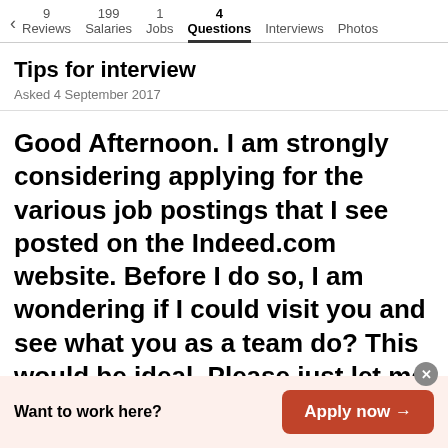< 9 Reviews  199 Salaries  1 Jobs  4 Questions  Interviews  Photos
Tips for interview
Asked 4 September 2017
Good Afternoon. I am strongly considering applying for the various job postings that I see posted on the Indeed.com website. Before I do so, I am wondering if I could visit you and see what you as a team do? This would be ideal. Please just let me acco
Want to work here?  Apply now →